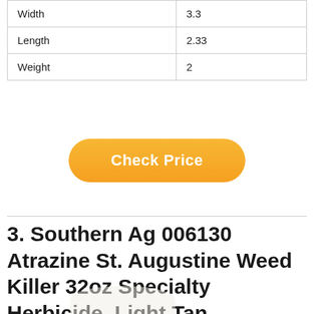| Width | 3.3 |
| Length | 2.33 |
| Weight | 2 |
Check Price
3. Southern Ag 006130 Atrazine St. Augustine Weed Killer 32oz Specialty Herbicide, Light Tan